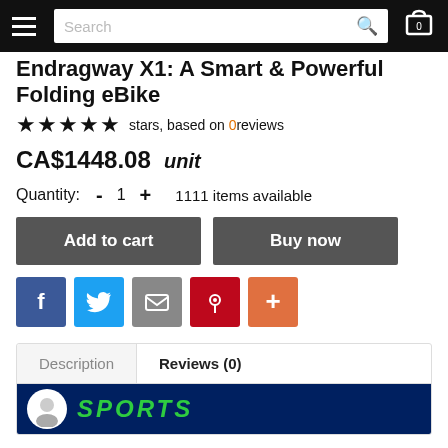Navigation bar with hamburger menu, search box, and cart icon (0 items)
Endragway X1: A Smart & Powerful Folding eBike
★★★★★ stars, based on 0reviews
CA$1448.08   unit
Quantity:  -  1  +  1111 items available
Add to cart   Buy now
Social share buttons: Facebook, Twitter, Email, Pinterest, More
Description  |  Reviews (0)
[Figure (screenshot): Sports brand banner image in dark blue with green 'SPORTS' text]